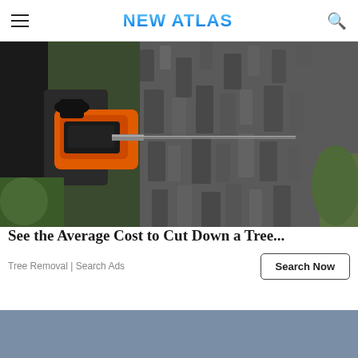NEW ATLAS
[Figure (photo): Close-up photo of a person using an orange chainsaw to cut into a large tree trunk with rough bark, green grass and foliage visible in the background.]
See the Average Cost to Cut Down a Tree...
Tree Removal | Search Ads
[Figure (photo): Partially visible image with a blue-grey background, appears to be the top of another article/ad card below.]